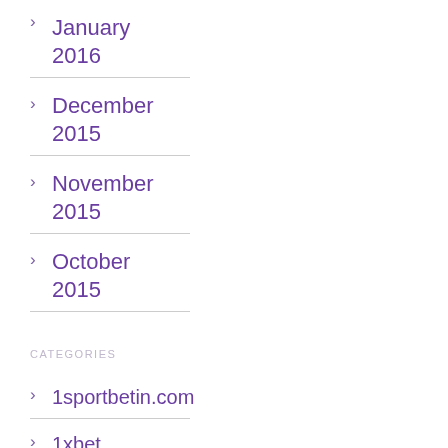January 2016
December 2015
November 2015
October 2015
CATEGORIES
1sportbetin.com
1xbet зеркало